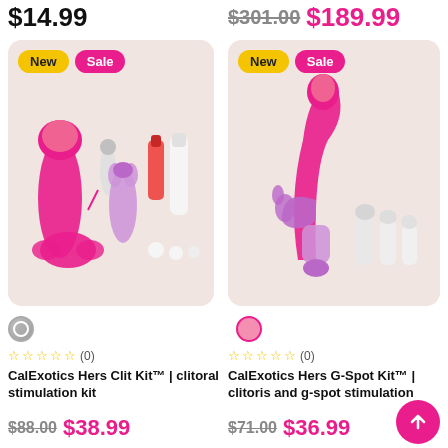$14.99
$301.00 $189.99
[Figure (photo): CalExotics Hers Clit Kit product image showing multiple pink/purple stimulation accessories on beige background with New and Sale badges]
[Figure (photo): CalExotics Hers G-Spot Kit product image showing pink g-spot vibrator with attachments on beige background with New and Sale badges]
☆☆☆☆☆ (0)
☆☆☆☆☆ (0)
CalExotics Hers Clit Kit™ | clitoral stimulation kit
CalExotics Hers G-Spot Kit™ | clitoris and g-spot stimulation
$88.00 $38.99
$71.00 $36.99